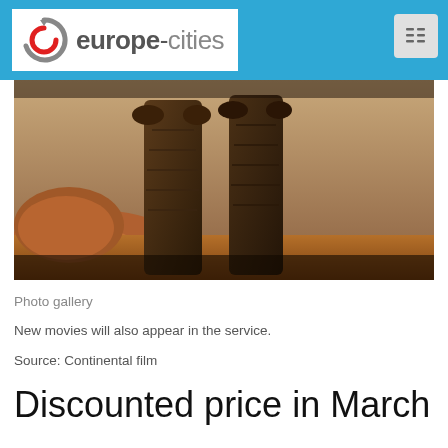europe-cities
[Figure (photo): Two figures in ornate armored suits standing in a desert landscape, resembling scenes from a science fiction film (likely Dune). Sandy red/orange terrain visible in the background.]
Photo gallery
New movies will also appear in the service.
Source: Continental film
Discounted price in March